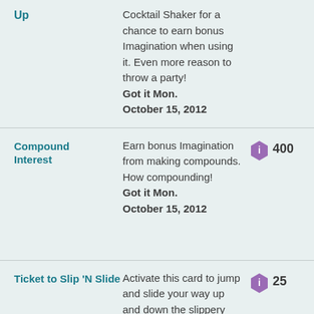Up — Cocktail Shaker for a chance to earn bonus Imagination when using it. Even more reason to throw a party! Got it Mon. October 15, 2012
Compound Interest — Earn bonus Imagination from making compounds. How compounding! Got it Mon. October 15, 2012 — 400
Ticket to Slip 'N Slide — Activate this card to jump and slide your way up and down the slippery hills of this quoin filled winter wonderland — 25